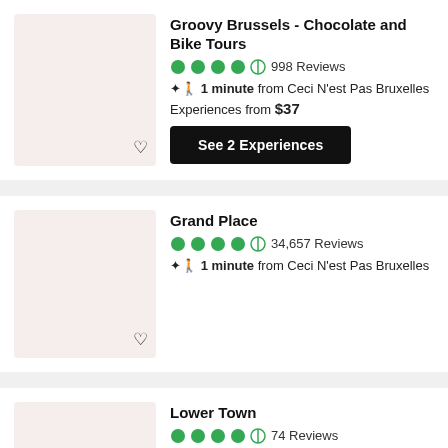[Figure (screenshot): Thumbnail placeholder image for Groovy Brussels - Chocolate and Bike Tours, pinkish-beige background]
Groovy Brussels - Chocolate and Bike Tours
4.5 stars  998 Reviews
1 minute from Ceci N'est Pas Bruxelles
Experiences from $37
See 2 Experiences
[Figure (screenshot): Thumbnail placeholder image for Grand Place, pinkish-beige background]
Grand Place
4.5 stars  34,657 Reviews
1 minute from Ceci N'est Pas Bruxelles
[Figure (screenshot): Thumbnail placeholder image for Lower Town, pinkish-beige background]
Lower Town
4.5 stars  74 Reviews
1 minute from Ceci N'est Pas Bruxelles